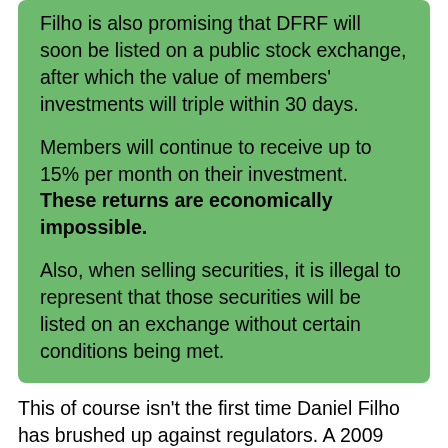Filho is also promising that DFRF will soon be listed on a public stock exchange, after which the value of members' investments will triple within 30 days.
Members will continue to receive up to 15% per month on their investment. These returns are economically impossible.
Also, when selling securities, it is illegal to represent that those securities will be listed on an exchange without certain conditions being met.
This of course isn't the first time Daniel Filho has brushed up against regulators. A 2009 enforcement action in Florida saw Filho return millions of dollars in assets he stole from victims through Evolution Market Group.
Other claims being made by Filho include:
investors' principal is guaranteed and safe